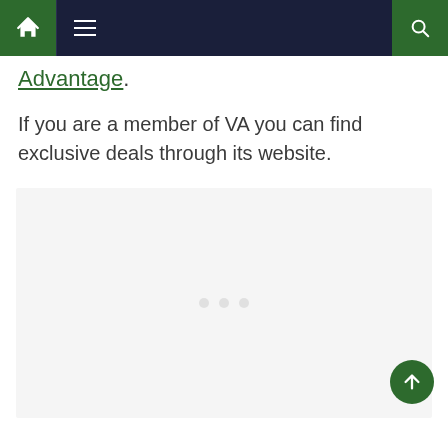Navigation bar with home, menu, and search icons
Advantage.
If you are a member of VA you can find exclusive deals through its website.
[Figure (other): Light gray image placeholder area with faint dots in center, representing an embedded image or video content]